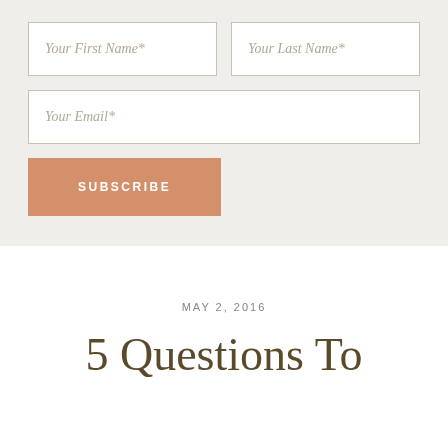[Figure (screenshot): Web form with two input fields for first and last name side by side, a full-width email input field, and an orange Subscribe button]
MAY 2, 2016
5 Questions To